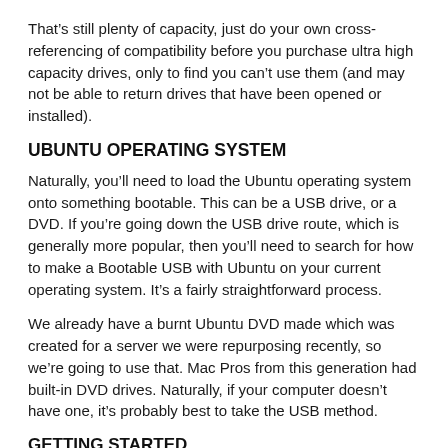That's still plenty of capacity, just do your own cross-referencing of compatibility before you purchase ultra high capacity drives, only to find you can't use them (and may not be able to return drives that have been opened or installed).
UBUNTU OPERATING SYSTEM
Naturally, you'll need to load the Ubuntu operating system onto something bootable. This can be a USB drive, or a DVD. If you're going down the USB drive route, which is generally more popular, then you'll need to search for how to make a Bootable USB with Ubuntu on your current operating system. It's a fairly straightforward process.
We already have a burnt Ubuntu DVD made which was created for a server we were repurposing recently, so we're going to use that. Mac Pros from this generation had built-in DVD drives. Naturally, if your computer doesn't have one, it's probably best to take the USB method.
GETTING STARTED
With any old computer, even without a hard drive installed, you want to power it up and check it boots.